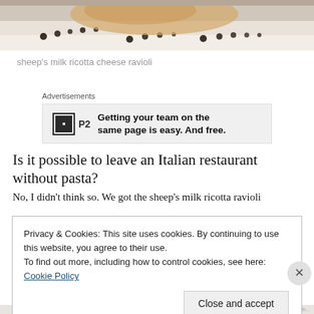[Figure (photo): Close-up photo of sheep's milk ricotta cheese ravioli on a white plate with dark dot decorations]
sheep's milk ricotta cheese ravioli
Advertisements
[Figure (other): Advertisement: P2 logo with text 'Getting your team on the same page is easy. And free.']
Is it possible to leave an Italian restaurant without pasta?
No, I didn't think so. We got the sheep's milk ricotta ravioli
Privacy & Cookies: This site uses cookies. By continuing to use this website, you agree to their use.
To find out more, including how to control cookies, see here: Cookie Policy
Close and accept